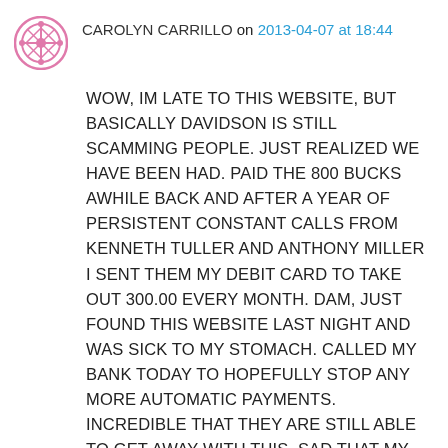CAROLYN CARRILLO on 2013-04-07 at 18:44
WOW, IM LATE TO THIS WEBSITE, BUT BASICALLY DAVIDSON IS STILL SCAMMING PEOPLE. JUST REALIZED WE HAVE BEEN HAD. PAID THE 800 BUCKS AWHILE BACK AND AFTER A YEAR OF PERSISTENT CONSTANT CALLS FROM KENNETH TULLER AND ANTHONY MILLER I SENT THEM MY DEBIT CARD TO TAKE OUT 300.00 EVERY MONTH. DAM, JUST FOUND THIS WEBSITE LAST NIGHT AND WAS SICK TO MY STOMACH. CALLED MY BANK TODAY TO HOPEFULLY STOP ANY MORE AUTOMATIC PAYMENTS. INCREDIBLE THAT THEY ARE STILL ABLE TO GET AWAY WITH THIS. SAD THAT MY HUSBAND SERVED HIS COUNTRY